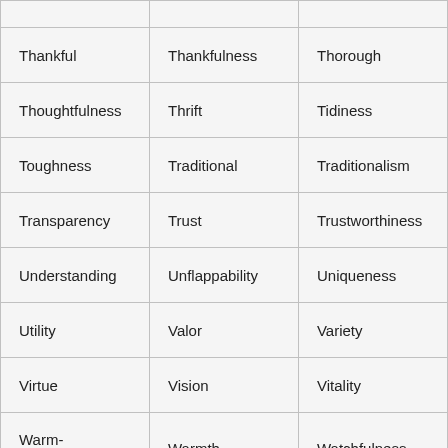|  |  |  |
| Thankful | Thankfulness | Thorough |
| Thoughtfulness | Thrift | Tidiness |
| Toughness | Traditional | Traditionalism |
| Transparency | Trust | Trustworthiness |
| Understanding | Unflappability | Uniqueness |
| Utility | Valor | Variety |
| Virtue | Vision | Vitality |
| Warm-Heartedness | Warmth | Watchfulness |